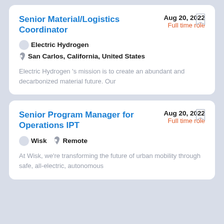Senior Material/Logistics Coordinator
Aug 20, 2022 | Full time role | Electric Hydrogen | San Carlos, California, United States | Electric Hydrogen 's mission is to create an abundant and decarbonized material future. Our
Senior Program Manager for Operations IPT
Aug 20, 2022 | Full time role | Wisk | Remote | At Wisk, we're transforming the future of urban mobility through safe, all-electric, autonomous